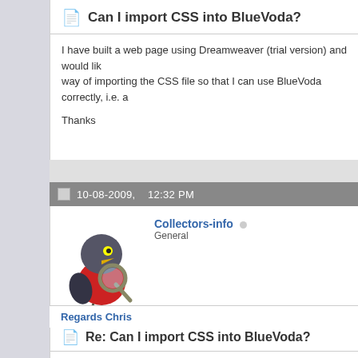Can I import CSS into BlueVoda?
I have built a web page using Dreamweaver (trial version) and would like way of importing the CSS file so that I can use BlueVoda correctly, i.e. a

Thanks
10-08-2009,   12:32 PM
[Figure (illustration): Avatar of a cartoon crow/raven character in a red vest holding a magnifying glass]
Collectors-info  General
Re: Can I import CSS into BlueVoda?
Place the CSS file in the "Between the head tag" of your BV page unde Either by direct css link to the css file on your server or placing the who
Regards Chris